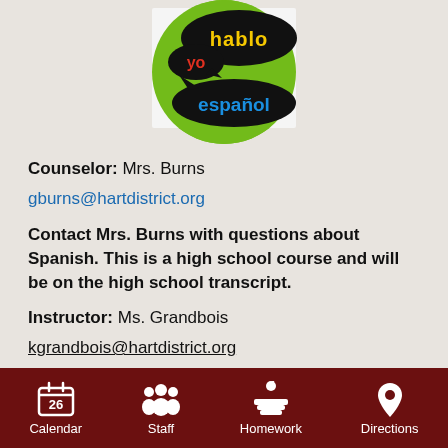[Figure (logo): Green circle logo with speech bubbles saying 'yo hablo español' in Spanish]
Counselor: Mrs. Burns
gburns@hartdistrict.org
Contact Mrs. Burns with questions about Spanish. This is a high school course and will be on the high school transcript.
Instructor: Ms. Grandbois
kgrandbois@hartdistrict.org
Web Site
Calendar  Staff  Homework  Directions